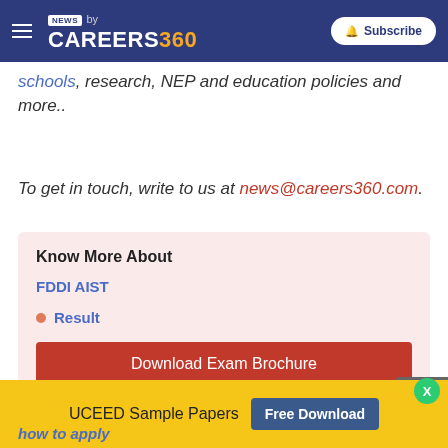NEWS by CAREERS360 | Subscribe
schools, research, NEP and education policies and more..
To get in touch, write to us at news@careers360.com.
Know More About
FDDI AIST
Result
Download Exam Brochure
NEXT STORY
UCEED Sample Papers Free Download
how to apply